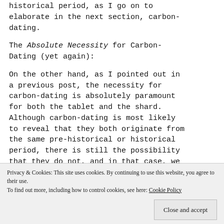historical period, as I go on to elaborate in the next section, carbon-dating.
The Absolute Necessity for Carbon-Dating (yet again):
On the other hand, as I pointed out in a previous post, the necessity for carbon-dating is absolutely paramount for both the tablet and the shard. Although carbon-dating is most likely to reveal that they both originate from the same pre-historical or historical period, there is still the possibility that they do not, and in that case, we
Privacy & Cookies: This site uses cookies. By continuing to use this website, you agree to their use. To find out more, including how to control cookies, see here: Cookie Policy
which these artifacts fall. Moreover,